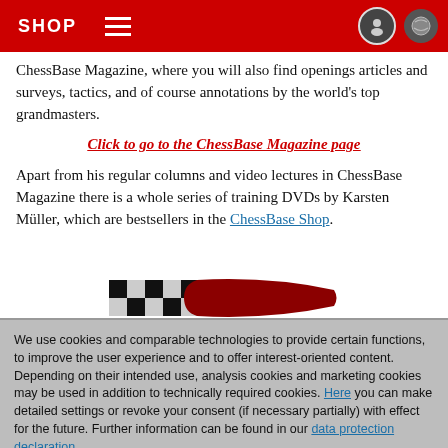SHOP
ChessBase Magazine, where you will also find openings articles and surveys, tactics, and of course annotations by the world's top grandmasters.
Click to go to the ChessBase Magazine page
Apart from his regular columns and video lectures in ChessBase Magazine there is a whole series of training DVDs by Karsten Müller, which are bestsellers in the ChessBase Shop.
[Figure (logo): ChessBase logo with checkerboard chess pattern and red swoosh]
We use cookies and comparable technologies to provide certain functions, to improve the user experience and to offer interest-oriented content. Depending on their intended use, analysis cookies and marketing cookies may be used in addition to technically required cookies. Here you can make detailed settings or revoke your consent (if necessary partially) with effect for the future. Further information can be found in our data protection declaration.